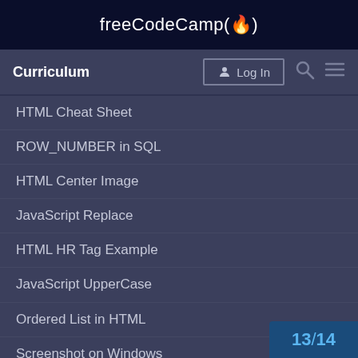freeCodeCamp(🔥)
Curriculum
HTML Cheat Sheet
ROW_NUMBER in SQL
HTML Center Image
JavaScript Replace
HTML HR Tag Example
JavaScript UpperCase
Ordered List in HTML
Screenshot on Windows
Sort an Array in Java
HTML Video
CSS Overflow
13 / 14